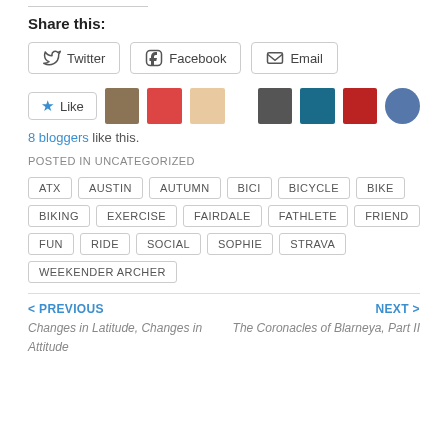Share this:
Twitter | Facebook | Email (share buttons)
[Figure (illustration): Like button with star icon and 8 blogger avatars shown as small square/circle profile images]
8 bloggers like this.
POSTED IN UNCATEGORIZED
ATX, AUSTIN, AUTUMN, BICI, BICYCLE, BIKE, BIKING, EXERCISE, FAIRDALE, FATHLETE, FRIEND, FUN, RIDE, SOCIAL, SOPHIE, STRAVA, WEEKENDER ARCHER
< PREVIOUS
Changes in Latitude, Changes in Attitude
NEXT >
The Coronacles of Blarneya, Part II